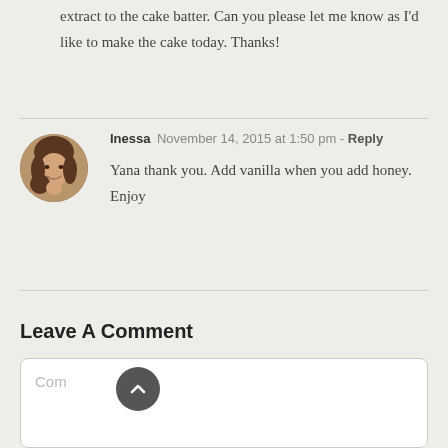extract to the cake batter. Can you please let me know as I'd like to make the cake today. Thanks!
[Figure (photo): Circular avatar photo of Inessa, a woman with brown hair smiling]
Inessa  November 14, 2015 at 1:50 pm - Reply
Yana thank you. Add vanilla when you add honey. Enjoy
Leave A Comment
Comment